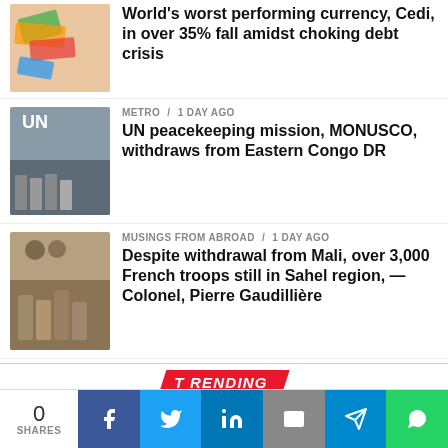[Figure (photo): Currency notes photo]
World's worst performing currency, Cedi, in over 35% fall amidst choking debt crisis
METRO / 1 day ago
[Figure (photo): UN soldiers near UN sign]
UN peacekeeping mission, MONUSCO, withdraws from Eastern Congo DR
MUSINGS FROM ABROAD / 1 day ago
[Figure (photo): French troops in Sahel region]
Despite withdrawal from Mali, over 3,000 French troops still in Sahel region, — Colonel, Pierre Gaudillière
TRENDING
METRO / 1 day ago
[Figure (photo): Morocco bus accident scene]
23 die, 36 injured in Morocco's tragic bus accident
0 SHARES